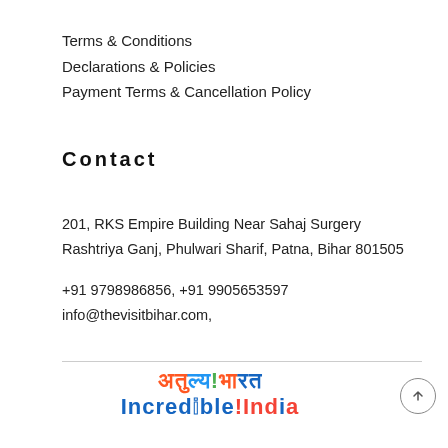Terms & Conditions
Declarations & Policies
Payment Terms & Cancellation Policy
Contact
201, RKS Empire Building Near Sahaj Surgery
Rashtriya Ganj, Phulwari Sharif, Patna, Bihar 801505
+91 9798986856, +91 9905653597
info@thevisitbihar.com,
[Figure (logo): Incredible India logo with Hindi text 'अतुल्य! भारत' above and 'Incredible India' below in colorful letters]